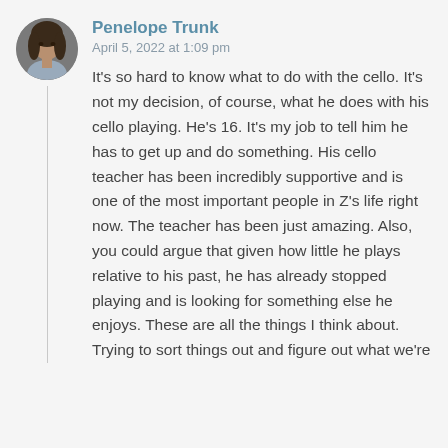[Figure (photo): Circular avatar photo of Penelope Trunk, a woman with dark hair]
Penelope Trunk
April 5, 2022 at 1:09 pm
It's so hard to know what to do with the cello. It's not my decision, of course, what he does with his cello playing. He's 16. It's my job to tell him he has to get up and do something. His cello teacher has been incredibly supportive and is one of the most important people in Z's life right now. The teacher has been just amazing. Also, you could argue that given how little he plays relative to his past, he has already stopped playing and is looking for something else he enjoys. These are all the things I think about. Trying to sort things out and figure out what we're